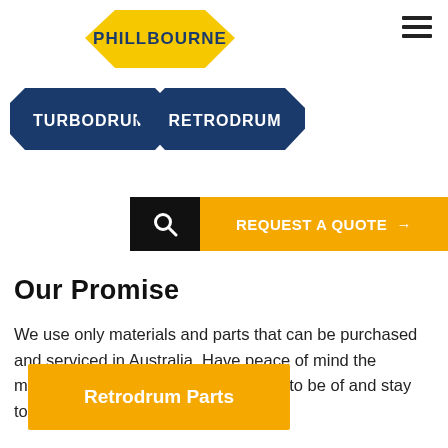[Figure (logo): Phillbourne logo with Turbodrum and Retrodrum hexagonal shapes in blue and yellow]
[Figure (infographic): Hamburger menu icon (three horizontal lines)]
[Figure (infographic): Search button (black with magnifying glass icon) and REQUEST A QUOTE button (yellow with arrow)]
Our Promise
We use only materials and parts that can be purchased and serviced in Australia. Have peace of mind the machine you purchase is guaranteed to be of and stay top quality.
[Figure (infographic): Retrodrum Parts button in yellow/orange]